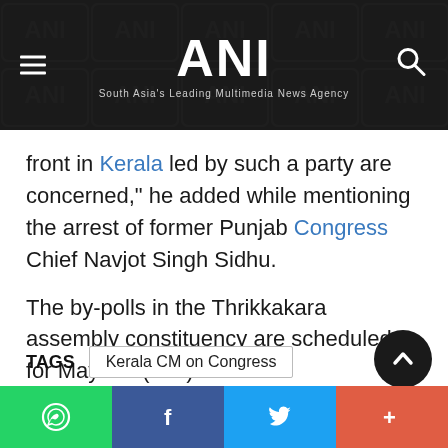[Figure (screenshot): ANI news website header with logo, hamburger menu, and search icon on dark background with ANI watermark tiles]
front in Kerala led by such a party are concerned," he added while mentioning the arrest of former Punjab Congress Chief Navjot Singh Sidhu.
The by-polls in the Thrikkakara assembly constituency are scheduled for May 31. (ANI)
TAGS   Kerala CM on Congress
[Figure (infographic): Social share bar with WhatsApp, Facebook, Twitter, and More buttons]